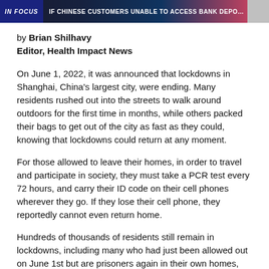[Figure (screenshot): News banner with 'IN FOCUS' label on left and headline text about Chinese customers unable to access bank deposits, with a small image thumbnail on the right.]
by Brian Shilhavy
Editor, Health Impact News
On June 1, 2022, it was announced that lockdowns in Shanghai, China's largest city, were ending. Many residents rushed out into the streets to walk around outdoors for the first time in months, while others packed their bags to get out of the city as fast as they could, knowing that lockdowns could return at any moment.
For those allowed to leave their homes, in order to travel and participate in society, they must take a PCR test every 72 hours, and carry their ID code on their cell phones wherever they go. If they lose their cell phone, they reportedly cannot even return home.
Hundreds of thousands of residents still remain in lockdowns, including many who had just been allowed out on June 1st but are prisoners again in their own homes,